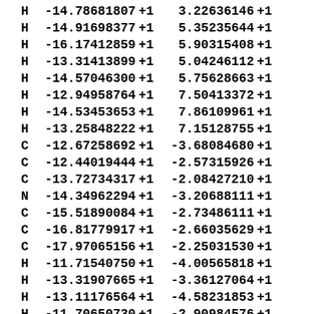| Element | X | +1 | Y | +1 |
| --- | --- | --- | --- | --- |
| H | -14.78681807 | +1 | 3.22636146 | +1 |
| H | -14.91698377 | +1 | 5.35235644 | +1 |
| H | -16.17412859 | +1 | 5.90315408 | +1 |
| H | -13.31413899 | +1 | 5.04246112 | +1 |
| H | -14.57046300 | +1 | 5.75628663 | +1 |
| H | -12.94958764 | +1 | 7.50413372 | +1 |
| H | -14.53453653 | +1 | 7.86109961 | +1 |
| H | -13.25848222 | +1 | 7.15128755 | +1 |
| C | -12.67258692 | +1 | -3.68084680 | +1 |
| C | -12.44019444 | +1 | -2.57315926 | +1 |
| C | -13.72734317 | +1 | -2.08427210 | +1 |
| N | -14.34962294 | +1 | -3.20688111 | +1 |
| C | -15.51890084 | +1 | -2.73486111 | +1 |
| C | -16.81779917 | +1 | -2.66035629 | +1 |
| C | -17.97065156 | +1 | -2.25031530 | +1 |
| H | -11.71540750 | +1 | -4.00565818 | +1 |
| H | -13.31907665 | +1 | -3.36127064 | +1 |
| H | -13.11176564 | +1 | -4.58231853 | +1 |
| H | -11.70650730 | +1 | -2.90984576 | +1 |
| H | -11.34901911 | +1 | -1.90037005 | +1 |